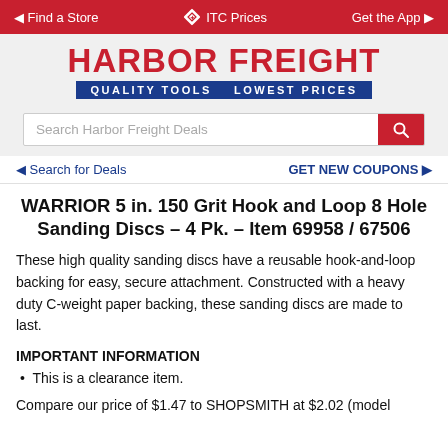◄ Find a Store   ◆ ITC Prices   Get the App ►
[Figure (logo): Harbor Freight Tools logo with red text and blue banner reading QUALITY TOOLS LOWEST PRICES]
Search Harbor Freight Deals
◄ Search for Deals   GET NEW COUPONS ►
WARRIOR 5 in. 150 Grit Hook and Loop 8 Hole Sanding Discs – 4 Pk. – Item 69958 / 67506
These high quality sanding discs have a reusable hook-and-loop backing for easy, secure attachment. Constructed with a heavy duty C-weight paper backing, these sanding discs are made to last.
IMPORTANT INFORMATION
This is a clearance item.
Compare our price of $1.47 to SHOPSMITH at $2.02 (model